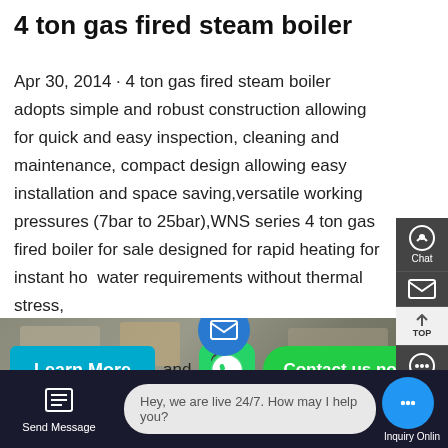4 ton gas fired steam boiler
Apr 30, 2014 · 4 ton gas fired steam boiler adopts simple and robust construction allowing for quick and easy inspection, cleaning and maintenance, compact design allowing easy installation and space saving,versatile working pressures (7bar to 25bar),WNS series 4 ton gas fired boiler for sale designed for rapid heating for instant hot water requirements without thermal stress, and
[Figure (screenshot): Learn More button (cyan), WhatsApp icon, Contact us now! button (green)]
[Figure (screenshot): Right sidebar with Chat, mail, TOP, and Contact icons on dark background]
[Figure (photo): Photo strip of boiler equipment at bottom of page]
[Figure (screenshot): Bottom bar with Send Message, live chat bubble (Hey, we are live 24/7. How may I help you?), and Inquiry Online button]